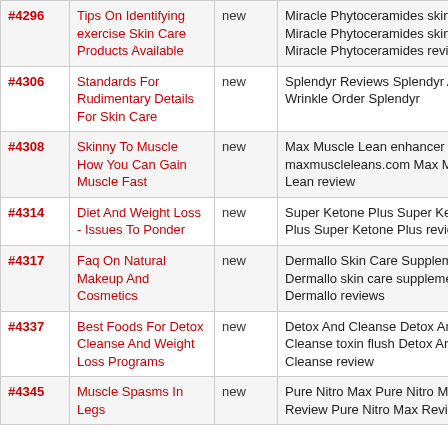| ID | Title | Status | Keywords |
| --- | --- | --- | --- |
| #4296 | Tips On Identifying exercise Skin Care Products Available | new | Miracle Phytoceramides skin Care Miracle Phytoceramides skin Care Miracle Phytoceramides reviews |
| #4306 | Standards For Rudimentary Details For Skin Care | new | Splendyr Reviews Splendyr Anti Wrinkle Order Splendyr |
| #4308 | Skinny To Muscle How You Can Gain Muscle Fast | new | Max Muscle Lean enhancer maxmuscleleans.com Max Muscle Lean review |
| #4314 | Diet And Weight Loss - Issues To Ponder | new | Super Ketone Plus Super Ketone Plus Super Ketone Plus review |
| #4317 | Faq On Natural Makeup And Cosmetics | new | Dermallo Skin Care Supplement Dermallo skin care supplements Dermallo reviews |
| #4337 | Best Foods For Detox Cleanse And Weight Loss Programs | new | Detox And Cleanse Detox And Cleanse toxin flush Detox And Cleanse review |
| #4345 | Muscle Spasms In Legs | new | Pure Nitro Max Pure Nitro Max Review Pure Nitro Max Reviews |